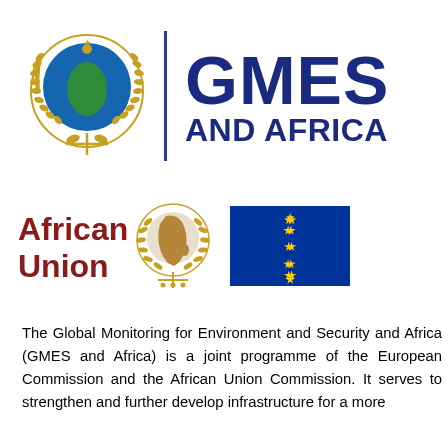[Figure (logo): African Union emblem (globe with Africa in green, surrounded by golden laurel wreath) with vertical blue line separator and GMES AND AFRICA text in bold dark blue]
[Figure (logo): African Union text logo in dark red with African Union small emblem, and European Union flag (blue rectangle with yellow stars circle)]
The Global Monitoring for Environment and Security and Africa (GMES and Africa) is a joint programme of the European Commission and the African Union Commission. It serves to strengthen and further develop infrastructure for a more